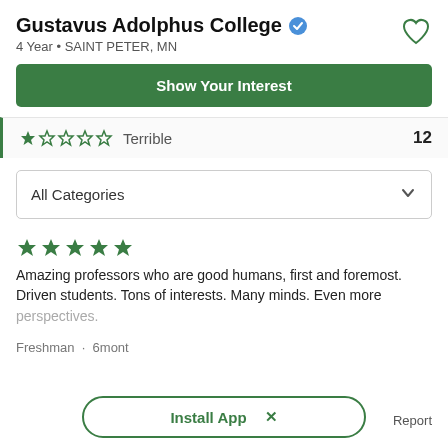Gustavus Adolphus College
4 Year • SAINT PETER, MN
Show Your Interest
Terrible  12
All Categories
Amazing professors who are good humans, first and foremost.
Driven students. Tons of interests. Many minds. Even more perspectives.
Freshman · 6mont
Install App  ×
Report